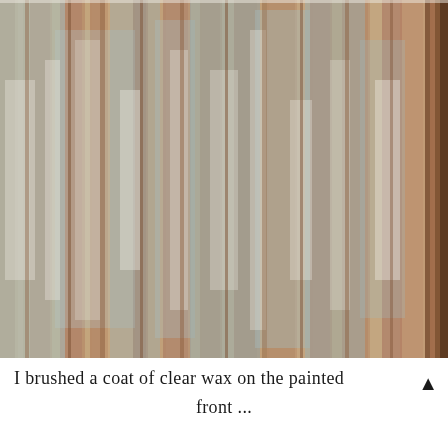[Figure (photo): Close-up photograph of a wooden surface with a distressed, chalky painted finish. The wood shows vertical grain with a mix of pale blue-gray paint, white wash, and exposed brown/reddish wood tones, creating a weathered, rustic appearance.]
I brushed a coat of clear wax on the painted front...